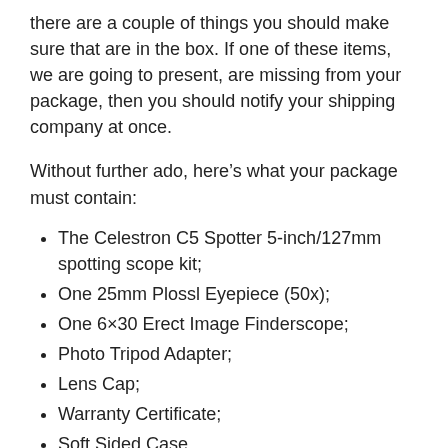there are a couple of things you should make sure that are in the box. If one of these items, we are going to present, are missing from your package, then you should notify your shipping company at once.
Without further ado, here’s what your package must contain:
The Celestron C5 Spotter 5-inch/127mm spotting scope kit;
One 25mm Plossl Eyepiece (50x);
One 6×30 Erect Image Finderscope;
Photo Tripod Adapter;
Lens Cap;
Warranty Certificate;
Soft Sided Case.
Customer Feedback